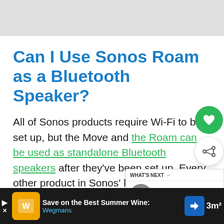[Figure (screenshot): Gray banner placeholder at top of webpage]
Can I Use Sonos Roam as a Bluetooth Speaker?
All of Sonos products require Wi-Fi to be set up, but the Move and the Roam can be used as standalone Bluetooth speakers after they've been set up. Every other product in Sonos' lineup requires a constant Wi-Fi conn…
[Figure (screenshot): Advertisement bar at bottom: Save on the Best Summer Wines - Wegmans]
[Figure (screenshot): What's Next card overlay: How To Unforget A...]